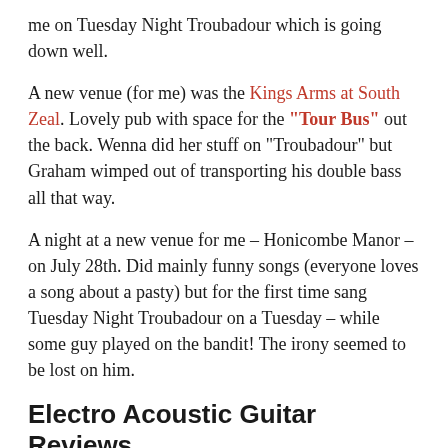me on Tuesday Night Troubadour which is going down well.
A new venue (for me) was the Kings Arms at South Zeal. Lovely pub with space for the "Tour Bus" out the back. Wenna did her stuff on "Troubadour" but Graham wimped out of transporting his double bass all that way.
A night at a new venue for me – Honicombe Manor – on July 28th. Did mainly funny songs (everyone loves a song about a pasty) but for the first time sang Tuesday Night Troubadour on a Tuesday – while some guy played on the bandit! The irony seemed to be lost on him.
Electro Acoustic Guitar Reviews
I have recently started to review electro acoustic guitars that I have used over my many years of playing. If you would like to learn more read my review of Epiphone PR-5E acoustic guitar